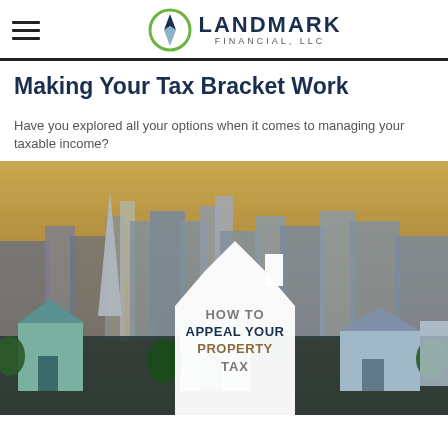LANDMARK FINANCIAL, LLC
Making Your Tax Bracket Work
Have you explored all your options when it comes to managing your taxable income?
[Figure (photo): City skyline at dusk with a white house silhouette overlay containing the text HOW TO APPEAL YOUR PROPERTY TAX]